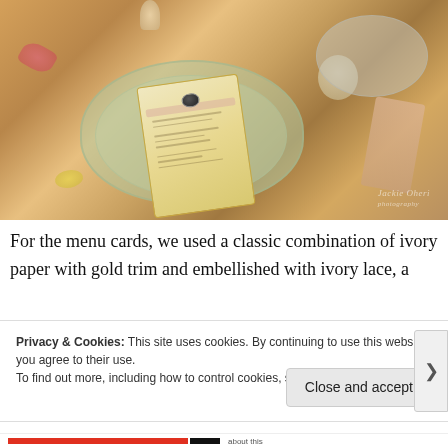[Figure (photo): Overhead view of an elegant wedding table setting featuring a decorative menu card in gold/cream on scalloped green glass plates, surrounded by rose petals, pearl grape clusters, candles, and a folded napkin on a warm wooden table.]
For the menu cards, we used a classic combination of ivory paper with gold trim and embellished with ivory lace, a
Privacy & Cookies: This site uses cookies. By continuing to use this website, you agree to their use.
To find out more, including how to control cookies, see here: Cookie Policy